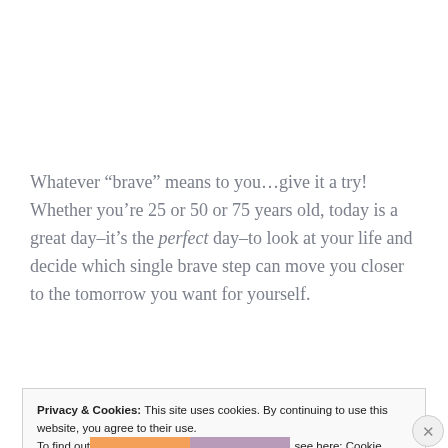Whatever “brave” means to you…give it a try!  Whether you’re 25 or 50 or 75 years old, today is a great day–it’s the perfect day–to look at your life and decide which single brave step can move you closer to the tomorrow you want for yourself.
Privacy & Cookies: This site uses cookies. By continuing to use this website, you agree to their use.
To find out more, including how to control cookies, see here: Cookie Policy